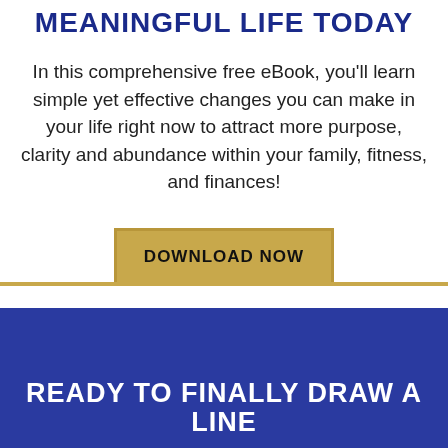MEANINGFUL LIFE TODAY
In this comprehensive free eBook, you'll learn simple yet effective changes you can make in your life right now to attract more purpose, clarity and abundance within your family, fitness, and finances!
[Figure (infographic): Gold/yellow rectangular button with text DOWNLOAD NOW, with a gold horizontal line below it]
READY TO FINALLY DRAW A LINE